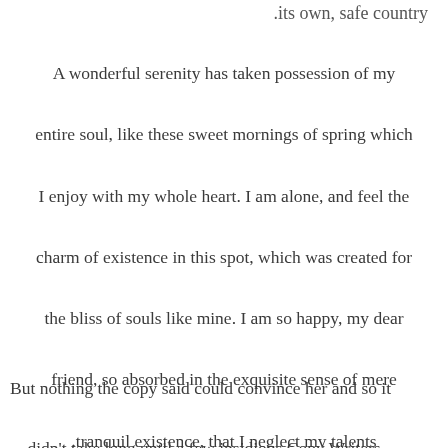.its own, safe country
A wonderful serenity has taken possession of my entire soul, like these sweet mornings of spring which I enjoy with my whole heart. I am alone, and feel the charm of existence in this spot, which was created for the bliss of souls like mine. I am so happy, my dear friend, so absorbed in the exquisite sense of mere tranquil existence, that I neglect my talents.
But nothing the copy said could convince her and so it didn't take long until a few insidious Copy Writers